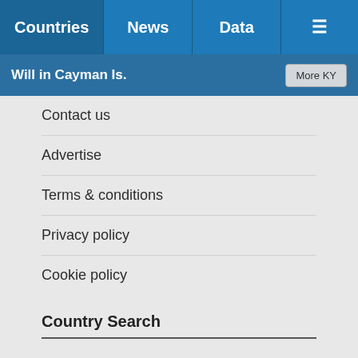Countries | News | Data | ≡
Will in Cayman Is. | More KY
Contact us
Advertise
Terms & conditions
Privacy policy
Cookie policy
Country Search
How to find country information
Data FAQs
Sitemap